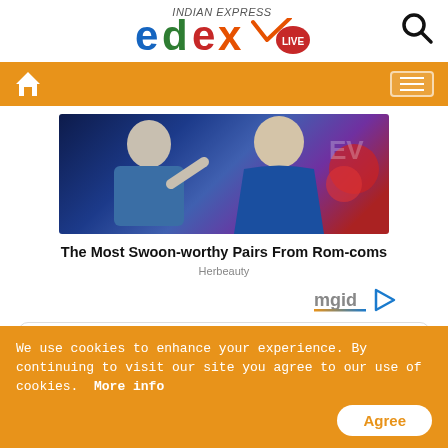[Figure (logo): edexLIVE logo from Indian Express with colorful letters e(blue), d(green), e(red), x(orange/yellow) and a red LIVE badge]
[Figure (screenshot): Navigation bar with home icon on left and hamburger menu on right, orange background]
[Figure (photo): Two people sitting together in a TV show setting with blue/purple lighting. Man on left in blue shirt, woman on right in blue dress.]
The Most Swoon-worthy Pairs From Rom-coms
Herbeauty
[Figure (logo): mgid logo with play triangle icon]
Tweets from @Xpress_edex
Follow
We use cookies to enhance your experience. By continuing to visit our site you agree to our use of cookies.  More info
Agree